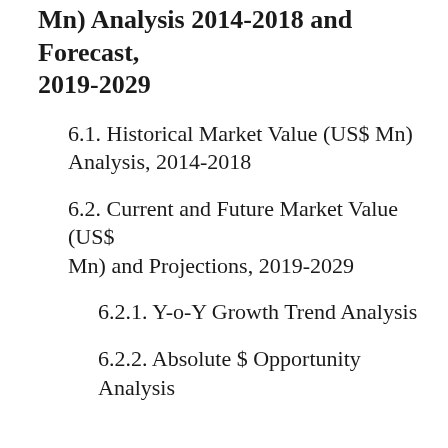Mn) Analysis 2014-2018 and Forecast, 2019-2029
6.1. Historical Market Value (US$ Mn) Analysis, 2014-2018
6.2. Current and Future Market Value (US$ Mn) and Projections, 2019-2029
6.2.1. Y-o-Y Growth Trend Analysis
6.2.2. Absolute $ Opportunity Analysis